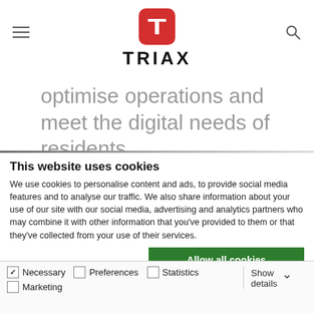TRIAX logo header with hamburger menu and search icon
optimise operations and meet the digital needs of residents.
This website uses cookies
We use cookies to personalise content and ads, to provide social media features and to analyse our traffic. We also share information about your use of our site with our social media, advertising and analytics partners who may combine it with other information that you've provided to them or that they've collected from your use of their services.
Allow all cookies
Allow selection
Use necessary cookies only
Necessary  Preferences  Statistics  Marketing  Show details